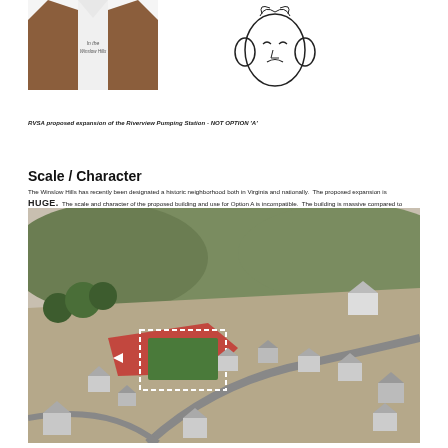[Figure (photo): Photo of a white t-shirt with handwritten text reading 'In the Winslow hills']
[Figure (illustration): Line drawing of a person with hands raised to their face in a worried/dismayed expression]
RVSA proposed expansion of the Riverview Pumping Station - NOT OPTION 'A'
Scale / Character
The Winslow Hills has recently been designated a historic neighborhood both in Virginia and nationally. The proposed expansion is HUGE. The scale and character of the proposed building and use for Option A is incompatible. The building is massive compared to adjacent homes.
[Figure (photo): Aerial perspective rendering showing the proposed large green building expansion on a red-highlighted lot surrounded by smaller residential homes in a hilly wooded neighborhood, illustrating the massive scale difference between the proposed structure and adjacent houses.]